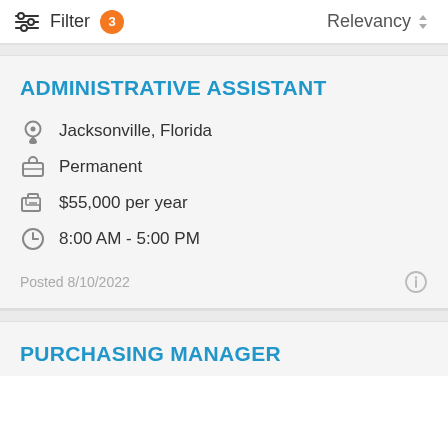Filter 3   Relevancy
ADMINISTRATIVE ASSISTANT
Jacksonville, Florida
Permanent
$55,000 per year
8:00 AM - 5:00 PM
Posted 8/10/2022
PURCHASING MANAGER